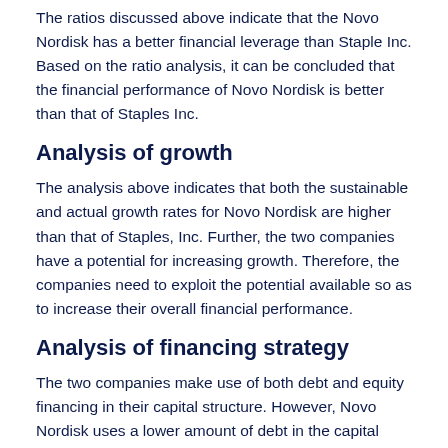The ratios discussed above indicate that the Novo Nordisk has a better financial leverage than Staple Inc. Based on the ratio analysis, it can be concluded that the financial performance of Novo Nordisk is better than that of Staples Inc.
Analysis of growth
The analysis above indicates that both the sustainable and actual growth rates for Novo Nordisk are higher than that of Staples, Inc. Further, the two companies have a potential for increasing growth. Therefore, the companies need to exploit the potential available so as to increase their overall financial performance.
Analysis of financing strategy
The two companies make use of both debt and equity financing in their capital structure. However, Novo Nordisk uses a lower amount of debt in the capital structure than